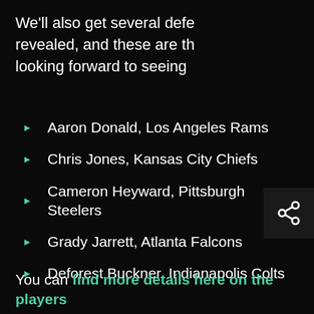We'll also get several defe revealed, and these are th looking forward to seeing
Aaron Donald, Los Angeles Rams
Chris Jones, Kansas City Chiefs
Cameron Heyward, Pittsburgh Steelers
Grady Jarrett, Atlanta Falcons
Deforest Buckner, Indianapolis Colts
You can find more details here on the players